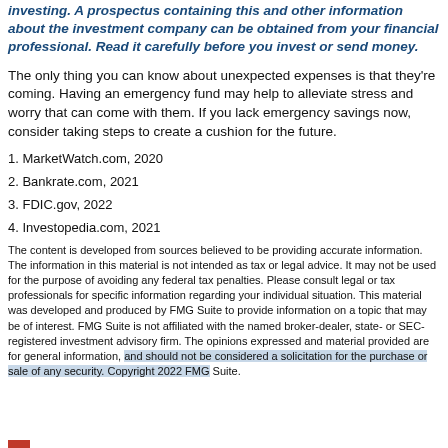investing. A prospectus containing this and other information about the investment company can be obtained from your financial professional. Read it carefully before you invest or send money.
The only thing you can know about unexpected expenses is that they're coming. Having an emergency fund may help to alleviate stress and worry that can come with them. If you lack emergency savings now, consider taking steps to create a cushion for the future.
1. MarketWatch.com, 2020
2. Bankrate.com, 2021
3. FDIC.gov, 2022
4. Investopedia.com, 2021
The content is developed from sources believed to be providing accurate information. The information in this material is not intended as tax or legal advice. It may not be used for the purpose of avoiding any federal tax penalties. Please consult legal or tax professionals for specific information regarding your individual situation. This material was developed and produced by FMG Suite to provide information on a topic that may be of interest. FMG Suite is not affiliated with the named broker-dealer, state- or SEC-registered investment advisory firm. The opinions expressed and material provided are for general information, and should not be considered a solicitation for the purchase or sale of any security. Copyright 2022 FMG Suite.